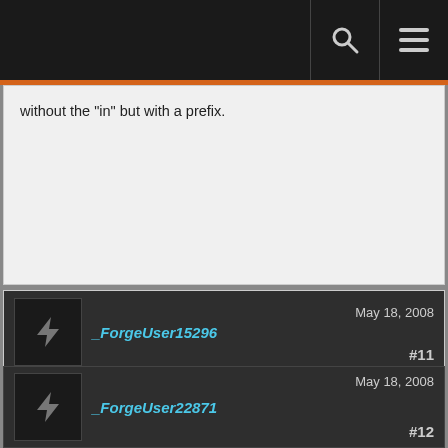without the "in" but with a prefix.
_ForgeUser15296
May 18, 2008
#11
Member Details
Anyone against the translations I've posted above? If not I'll add them.
_ForgeUser22871
May 18, 2008
#12
Member Details